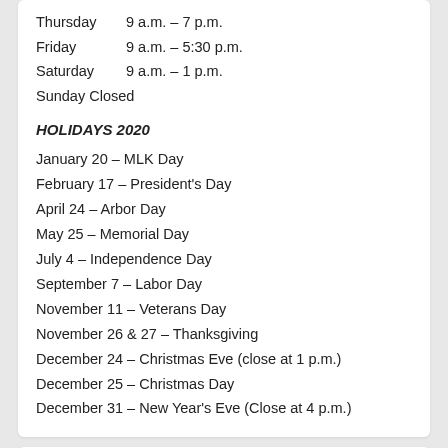Thursday    9 a.m. – 7 p.m.
Friday      9 a.m. – 5:30 p.m.
Saturday    9 a.m. – 1 p.m.
Sunday Closed
HOLIDAYS 2020
January 20 – MLK Day
February 17 – President's Day
April 24 – Arbor Day
May 25 – Memorial Day
July 4 – Independence Day
September 7 – Labor Day
November 11 – Veterans Day
November 26 & 27 – Thanksgiving
December 24 – Christmas Eve (close at 1 p.m.)
December 25 – Christmas Day
December 31 – New Year's Eve (Close at 4 p.m.)
This site is part of the Nebraska Libraries on the Web project hosted by the Nebraska Library Commission.